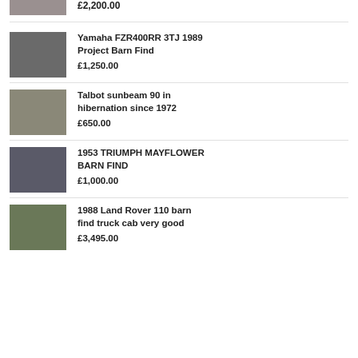[Figure (photo): Partial image of a vehicle listing (cropped at top)]
£2,200.00 (partial, cropped)
[Figure (photo): Yamaha FZR400RR 3TJ 1989 Project Barn Find - motorcycle parts]
Yamaha FZR400RR 3TJ 1989 Project Barn Find
£1,250.00
[Figure (photo): Talbot sunbeam 90 in hibernation since 1972 - old grey car]
Talbot sunbeam 90 in hibernation since 1972
£650.00
[Figure (photo): 1953 TRIUMPH MAYFLOWER BARN FIND - dark blue vintage car]
1953 TRIUMPH MAYFLOWER BARN FIND
£1,000.00
[Figure (photo): 1988 Land Rover 110 barn find truck cab very good - blue truck]
1988 Land Rover 110 barn find truck cab very good
£3,495.00